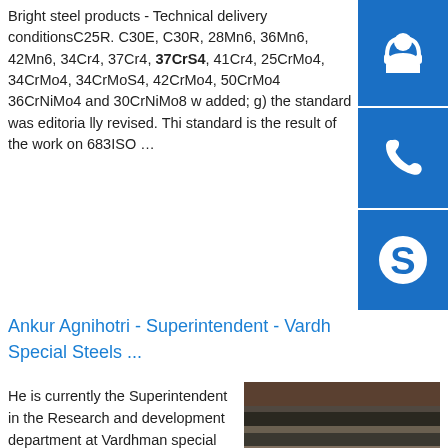Bright steel products - Technical delivery conditionsC25R. C30E, C30R, 28Mn6, 36Mn6, 42Mn6, 34Cr4, 37Cr4, 37CrS4, 41Cr4, 25CrMo4, 34CrMo4, 34CrMoS4, 42CrMo4, 50CrMo4 36CrNiMo4 and 30CrNiMo8 w added; g) the standard was editorially revised. This standard is the result of the work on 683ISO …
Ankur Agnihotri - Superintendent - Vardhman Special Steels ...
He is currently the Superintendent in the Research and development department at Vardhman special steels Ltd. Ludhiana 141010, Punjab, INDIA, and works in the area of process improvement in steel making shop. Ankur Agnihotri focuses on physical and mathematical modelling of metallurgical process for designing new processes, better
[Figure (photo): Stack of steel plates/sheets photographed outdoors]